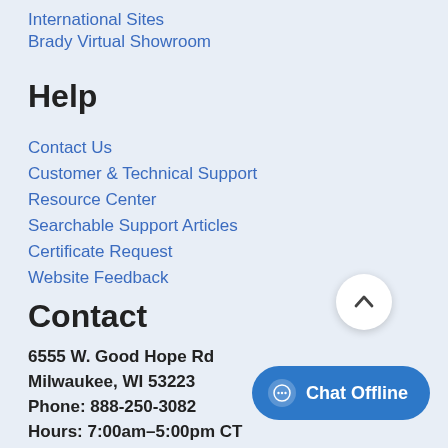International Sites
Brady Virtual Showroom
Help
Contact Us
Customer & Technical Support
Resource Center
Searchable Support Articles
Certificate Request
Website Feedback
Contact
6555 W. Good Hope Rd
Milwaukee, WI 53223
Phone: 888-250-3082
Hours: 7:00am–5:00pm CT
Monday–Friday
[Figure (other): Scroll to top button (chevron up icon in white circle)]
[Figure (other): Chat Offline button with chat bubble icon]